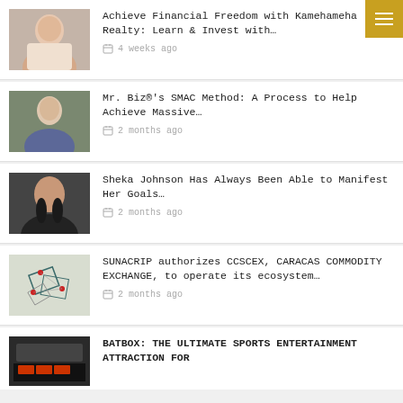[Figure (photo): Headshot of a woman smiling, wearing a light-colored blazer]
Achieve Financial Freedom with Kamehameha Realty: Learn & Invest with…
4 weeks ago
[Figure (photo): Headshot of a man in a blue blazer standing outdoors]
Mr. Biz®'s SMAC Method: A Process to Help Achieve Massive…
2 months ago
[Figure (photo): Headshot of a woman with long dark hair smiling]
Sheka Johnson Has Always Been Able to Manifest Her Goals…
2 months ago
[Figure (schematic): Abstract diagram with squares and red dots connected by lines]
SUNACRIP authorizes CCSCEX, CARACAS COMMODITY EXCHANGE, to operate its ecosystem…
2 months ago
[Figure (photo): Storefront with illuminated signage]
BATBOX: THE ULTIMATE SPORTS ENTERTAINMENT ATTRACTION FOR